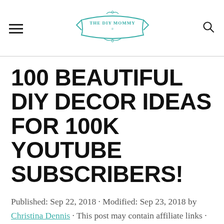[hamburger menu] THE DIY MOMMY [search icon]
100 BEAUTIFUL DIY DECOR IDEAS FOR 100K YOUTUBE SUBSCRIBERS!
Published: Sep 22, 2018 · Modified: Sep 23, 2018 by Christina Dennis · This post may contain affiliate links · This blog generates income via ads · 4 Comments